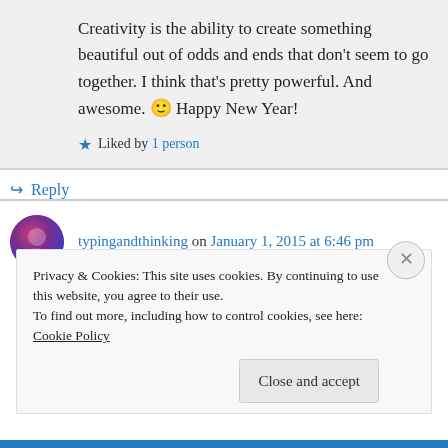Creativity is the ability to create something beautiful out of odds and ends that don't seem to go together. I think that's pretty powerful. And awesome. 🙂 Happy New Year!
★ Liked by 1 person
↪ Reply
typingandthinking on January 1, 2015 at 6:46 pm
Privacy & Cookies: This site uses cookies. By continuing to use this website, you agree to their use.
To find out more, including how to control cookies, see here: Cookie Policy
Close and accept